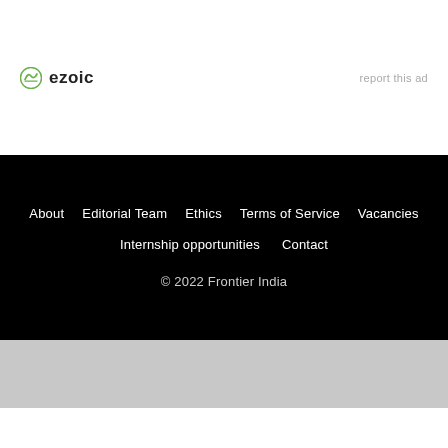[Figure (logo): Ezoic logo with green circular icon and bold text 'ezoic']
report this ad
About  Editorial Team  Ethics  Terms of Service  Vacancies  Internship opportunities  Contact  © 2022 Frontier India